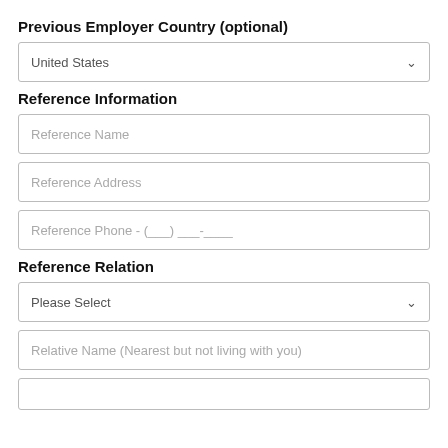Previous Employer Country (optional)
United States
Reference Information
Reference Name
Reference Address
Reference Phone - (___) ___-____
Reference Relation
Please Select
Relative Name (Nearest but not living with you)